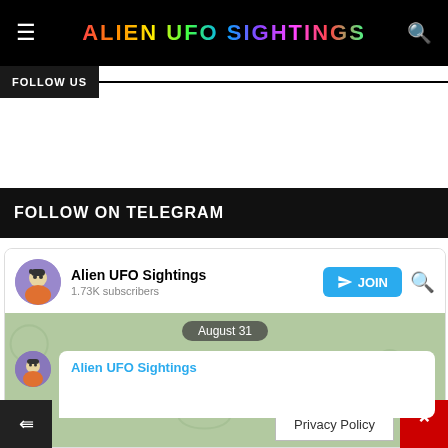ALIEN UFO SIGHTINGS
FOLLOW US
FOLLOW ON TELEGRAM
[Figure (screenshot): Telegram widget showing Alien UFO Sightings channel with 1.73K subscribers, JOIN button, date badge August 31, and a message bubble from Alien UFO Sightings]
Alien UFO Sightings
1.73K subscribers
August 31
Alien UFO Sightings
Privacy Policy